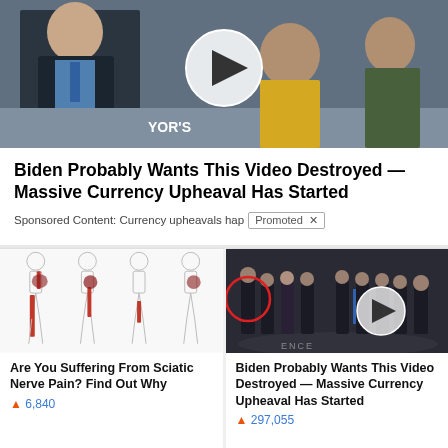[Figure (screenshot): Video thumbnail showing two people seated at a table in what appears to be a TV studio or trading floor setting, with a play button overlay. Text 'YOR's' visible in lower center.]
Biden Probably Wants This Video Destroyed — Massive Currency Upheaval Has Started
Sponsored Content: Currency upheavals happ... Promoted X
[Figure (illustration): Medical illustration showing four human body outlines from the side with red highlighted areas indicating sciatic nerve pain pathways running down the legs.]
Are You Suffering From Sciatic Nerve Pain? Find Out Why
🔥 6,840
[Figure (screenshot): Photo of a group of men in dark suits standing in a formal setting, appears to be the CIA headquarters lobby with the CIA seal on the floor. One person is circled in red and there is a play button overlay.]
Biden Probably Wants This Video Destroyed — Massive Currency Upheaval Has Started
🔥 297,055